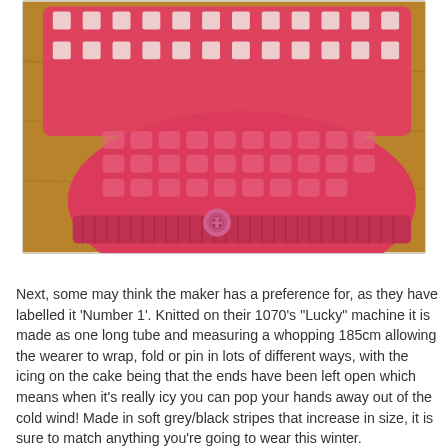[Figure (photo): A red/pink knitted hat and scarf/cowl with a white dot pattern and textured knit design, laid on a wooden surface. The hat has a pink button accent near the brim.]
Next, some may think the maker has a preference for, as they have labelled it 'Number 1'. Knitted on their 1070's "Lucky" machine it is made as one long tube and measuring a whopping 185cm allowing the wearer to wrap, fold or pin in lots of different ways, with the icing on the cake being that the ends have been left open which means when it's really icy you can pop your hands away out of the cold wind! Made in soft grey/black stripes that increase in size, it is sure to match anything you're going to wear this winter.